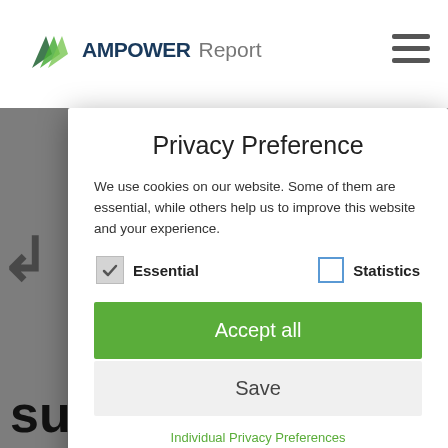[Figure (screenshot): Background website header with AMPOWERReport logo and hamburger menu icon, and partial body text 'successful?' visible below a gray overlay]
Privacy Preference
We use cookies on our website. Some of them are essential, while others help us to improve this website and your experience.
Essential
Statistics
Accept all
Save
Individual Privacy Preferences
Cookie Details | Privacy Policy | Imprint